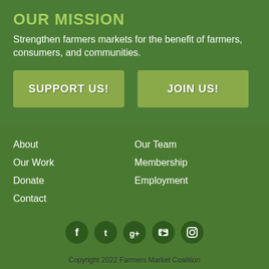OUR MISSION
Strengthen farmers markets for the benefit of farmers, consumers, and communities.
SUPPORT US!
JOIN US!
About
Our Team
Our Work
Membership
Donate
Employment
Contact
[Figure (infographic): Social media icons row: Facebook, Twitter, Google+, YouTube, Instagram]
Copyright 2022 Farmers Market Coalition